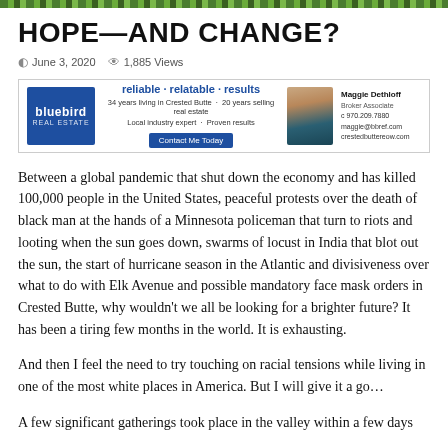HOPE—AND CHANGE?
June 3, 2020   1,885 Views
[Figure (other): Advertisement for Bluebird Real Estate featuring Maggie Dethloff, Broker Associate. Tagline: reliable · relatable · results. 34 years living in Crested Butte · 20 years selling real estate. Local industry expert · Proven results. Contact Me Today button. c 970.209.7880, maggie@bbref.com, crestedbuttereow.com]
Between a global pandemic that shut down the economy and has killed 100,000 people in the United States, peaceful protests over the death of black man at the hands of a Minnesota policeman that turn to riots and looting when the sun goes down, swarms of locust in India that blot out the sun, the start of hurricane season in the Atlantic and divisiveness over what to do with Elk Avenue and possible mandatory face mask orders in Crested Butte, why wouldn't we all be looking for a brighter future? It has been a tiring few months in the world. It is exhausting.
And then I feel the need to try touching on racial tensions while living in one of the most white places in America. But I will give it a go…
A few significant gatherings took place in the valley within a few days